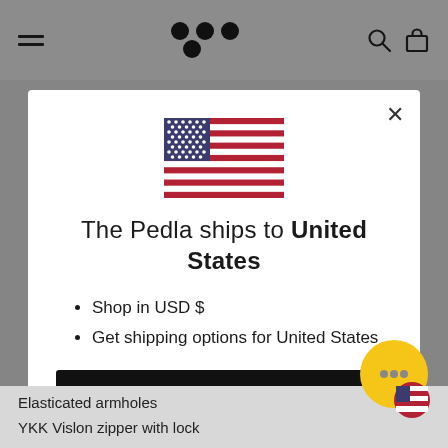[Figure (screenshot): Website navigation bar with hamburger menu, dot-logo, search and cart icons on grey background]
[Figure (illustration): US flag icon in modal dialog]
The Pedla ships to United States
Shop in USD $
Get shipping options for United States
Shop now
Change shipping country
Elasticated armholes
YKK Vislon zipper with lock